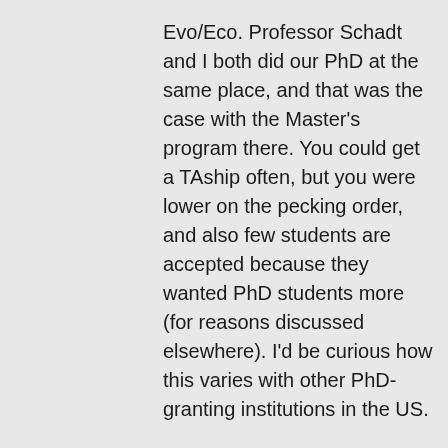Evo/Eco. Professor Schadt and I both did our PhD at the same place, and that was the case with the Master's program there. You could get a TAship often, but you were lower on the pecking order, and also few students are accepted because they wanted PhD students more (for reasons discussed elsewhere). I'd be curious how this varies with other PhD-granting institutions in the US.